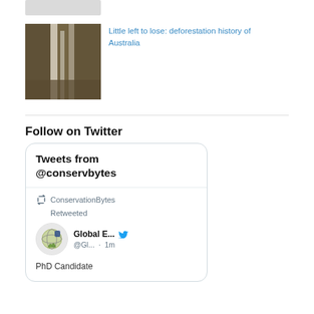[Figure (photo): Blurred/greyed out image at top]
[Figure (photo): Thumbnail photo of a tree trunk/forest scene in brown and grey tones]
Little left to lose: deforestation history of Australia
Follow on Twitter
[Figure (screenshot): Twitter widget showing 'Tweets from @conservbytes' header, ConservationBytes Retweeted, Global E... @Gl... · 1m, PhD Candidate]
Tweets from @conservbytes
ConservationBytes Retweeted
Global E...
@Gl... · 1m
PhD Candidate